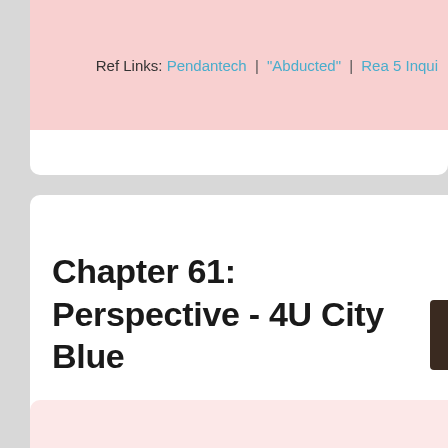Ref Links: Pendantech | "Abducted" | Rea 5 Inqui
Chapter 61: Perspective - 4U City Blue